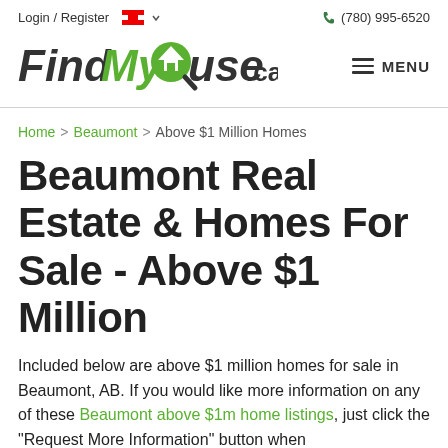Login / Register   🍁 ∨   (780) 995-6520
[Figure (logo): FindMyHouse.ca logo with magnifying glass icon and green/dark styling]
MENU
Home > Beaumont > Above $1 Million Homes
Beaumont Real Estate & Homes For Sale - Above $1 Million
Included below are above $1 million homes for sale in Beaumont, AB. If you would like more information on any of these Beaumont above $1m home listings, just click the "Request More Information" button when